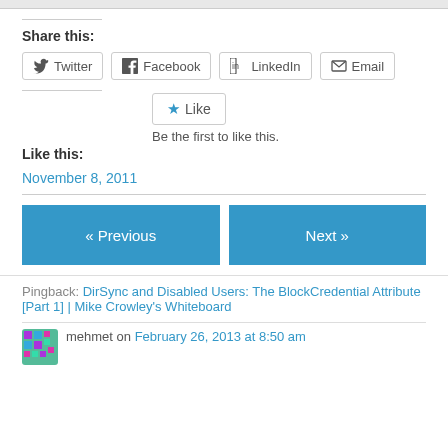Share this:
Twitter  Facebook  LinkedIn  Email
Like  Be the first to like this.  Like this:
November 8, 2011
« Previous
Next »
Pingback: DirSync and Disabled Users: The BlockCredential Attribute [Part 1] | Mike Crowley's Whiteboard
mehmet on February 26, 2013 at 8:50 am